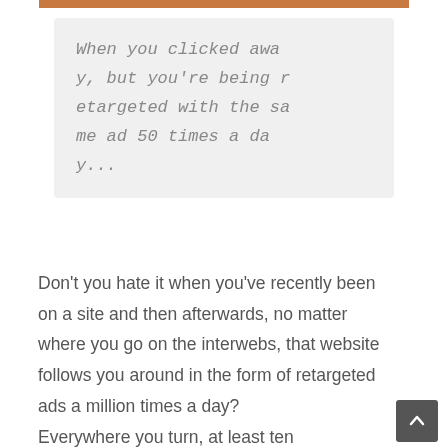[Figure (photo): Thin brown/orange image bar at the top of the page]
When you clicked away, but you're being retargeted with the same ad 50 times a day...
Don't you hate it when you've recently been on a site and then afterwards, no matter where you go on the interwebs, that website follows you around in the form of retargeted ads a million times a day?
Everywhere you turn, at least ten